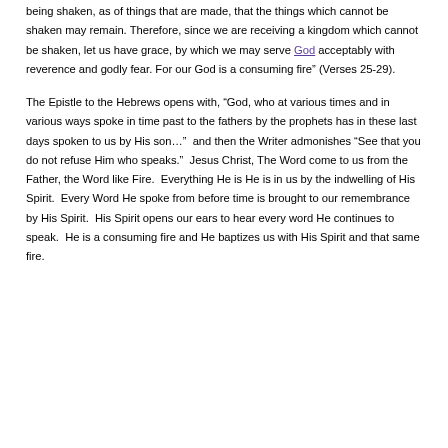being shaken, as of things that are made, that the things which cannot be shaken may remain. Therefore, since we are receiving a kingdom which cannot be shaken, let us have grace, by which we may serve God acceptably with reverence and godly fear. For our God is a consuming fire" (Verses 25-29).
The Epistle to the Hebrews opens with, “God, who at various times and in various ways spoke in time past to the fathers by the prophets has in these last days spoken to us by His son…”  and then the Writer admonishes “See that you do not refuse Him who speaks.”  Jesus Christ, The Word come to us from the Father, the Word like Fire.  Everything He is He is in us by the indwelling of His Spirit.  Every Word He spoke from before time is brought to our remembrance by His Spirit.  His Spirit opens our ears to hear every word He continues to speak.  He is a consuming fire and He baptizes us with His Spirit and that same fire.